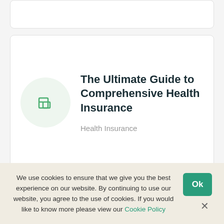[Figure (other): Partial top card with placeholder image icon]
The Ultimate Guide to Comprehensive Health Insurance
Health Insurance
Children's health insurance
Health Insurance
We use cookies to ensure that we give you the best experience on our website. By continuing to use our website, you agree to the use of cookies. If you would like to know more please view our Cookie Policy